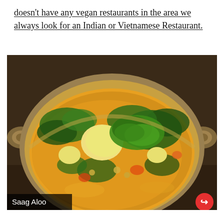doesn't have any vegan restaurants in the area we always look for an Indian or Vietnamese Restaurant.
[Figure (photo): A metal kadai (Indian cooking dish) filled with Saag Aloo — a yellow-orange curry with potatoes, chickpeas, spinach, and other vegetables, garnished with chopped green herbs. The dish sits on a dark wooden surface. A caption 'Saag Aloo' appears in the lower-left corner of the image.]